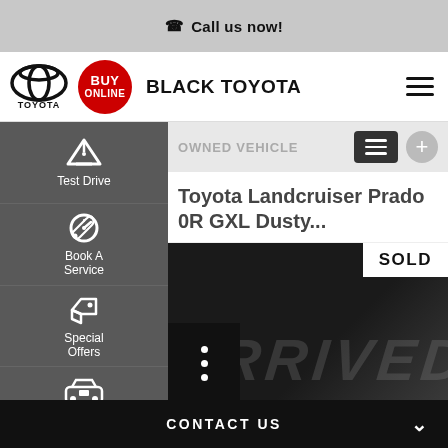Call us now!
[Figure (logo): Toyota logo with BUY ONLINE red badge and BLACK TOYOTA brand name]
OWNED VEHICLE
Toyota Landcruiser Prado 0R GXL Dusty...
[Figure (photo): Vehicle image area with SOLD badge and ARRIVED watermark text, dark background]
Test Drive
Book A Service
Special Offers
Value my Trade-In
CONTACT US